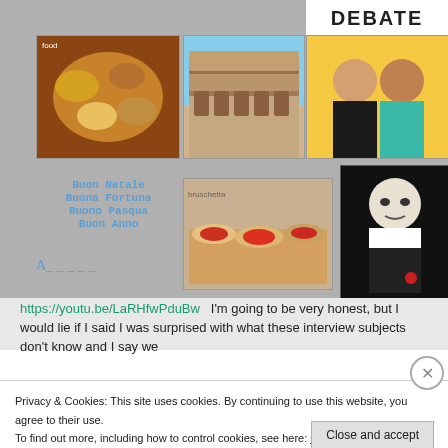[Figure (photo): Grid of images: food platter, Colosseum, women, bruschetta, Godfather illustration, DEBATE text]
Buon Natale
Buona Fortuna
Buono Pasqua
Buon Anno
A_ _ _ _ _
https://youtu.be/LaRHfwPduBw   I'm going to be very honest, but I would lie if I said I was surprised with what these interview subjects don't know and I say we
Privacy & Cookies: This site uses cookies. By continuing to use this website, you agree to their use.
To find out more, including how to control cookies, see here: Cookie Policy
Close and accept